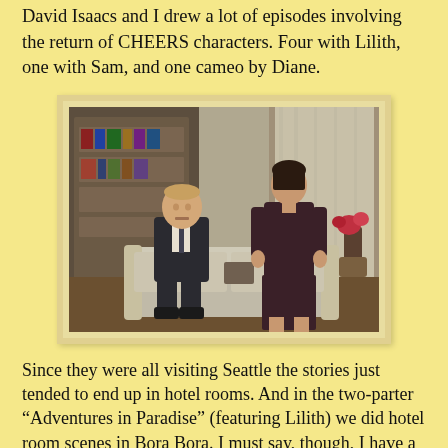David Isaacs and I drew a lot of episodes involving the return of CHEERS characters. Four with Lilith, one with Sam, and one cameo by Diane.
[Figure (photo): A still from a TV show (Frasier) showing a man in a suit sitting on a couch and a woman in a dark top standing behind it in an apartment setting.]
Since they were all visiting Seattle the stories just tended to end up in hotel rooms. And in the two-parter “Adventures in Paradise” (featuring Lilith) we did hotel room scenes in Bora Bora. I must say, though, I have a real fondness for the hotel room scenes. They were probably the best scenes we wrote for the show. But when you get to write for actors the caliber of Kelsey Grammer, David Hyde Pierce, Bebe Neuwirth, Ted Danson, JoBeth Williams, and Tea Leoni how can you go wrong?